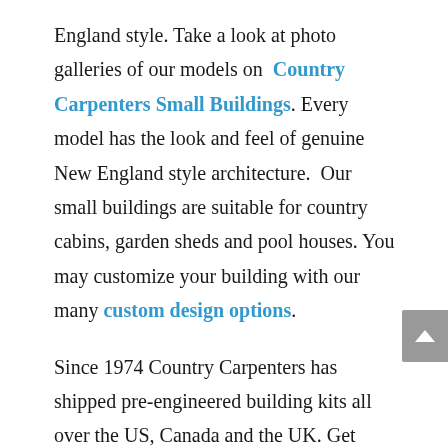England style. Take a look at photo galleries of our models on Country Carpenters Small Buildings. Every model has the look and feel of genuine New England style architecture.  Our small buildings are suitable for country cabins, garden sheds and pool houses. You may customize your building with our many custom design options.
Since 1974 Country Carpenters has shipped pre-engineered building kits all over the US, Canada and the UK. Get started by talking to us. Country Carpenters post & beam buildings include garden sheds, pool houses, saltbox style carriage sheds, and many sizes and styles of country barns. We will discuss your ideas, dreams and expectations, and property layout.